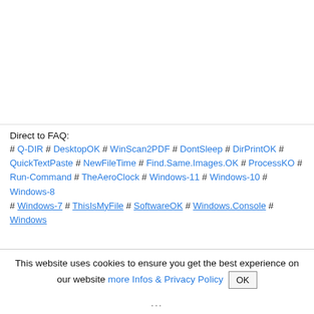Direct to FAQ:
# Q-DIR # DesktopOK # WinScan2PDF # DontSleep # DirPrintOK # QuickTextPaste # NewFileTime # Find.Same.Images.OK # ProcessKO # Run-Command # TheAeroClock # Windows-11 # Windows-10 # Windows-8 # Windows-7 # ThisIsMyFile # SoftwareOK # Windows.Console # Windows...
This website uses cookies to ensure you get the best experience on our website more Infos & Privacy Policy OK